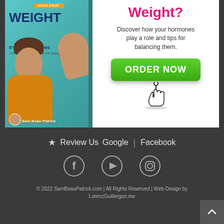[Figure (illustration): Book cover for 'WEIGHT It's Your Hormones' by Sam Beau Patrick, showing a woman with hand raised, teal background]
Weight?
Discover how your hormones play a role and tips for balancing them.
ORDER NOW
★ Review Us   Google | Facebook
© 2022 SamBeauPatrick.com | All Rights Reserved | Web Design by LorenzGuillergan.me